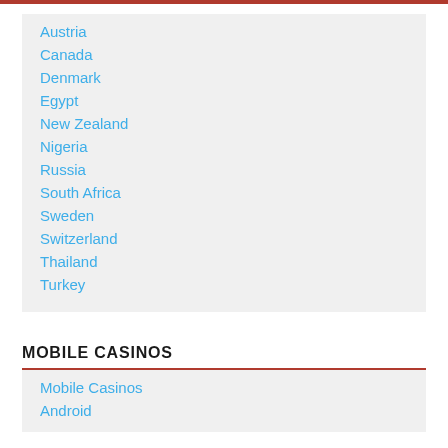Austria
Canada
Denmark
Egypt
New Zealand
Nigeria
Russia
South Africa
Sweden
Switzerland
Thailand
Turkey
MOBILE CASINOS
Mobile Casinos
Android